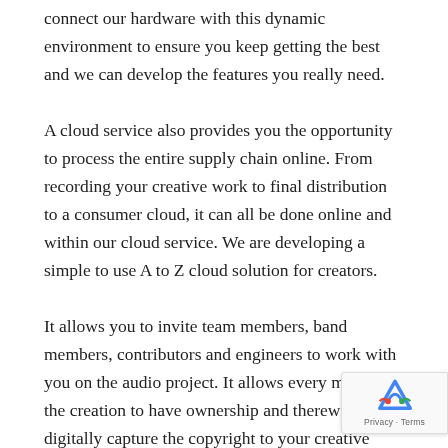connect our hardware with this dynamic environment to ensure you keep getting the best and we can develop the features you really need.
A cloud service also provides you the opportunity to process the entire supply chain online. From recording your creative work to final distribution to a consumer cloud, it can all be done online and within our cloud service. We are developing a simple to use A to Z cloud solution for creators.
It allows you to invite team members, band members, contributors and engineers to work with you on the audio project. It allows every member the creation to have ownership and therewith digitally capture the copyright to your creative